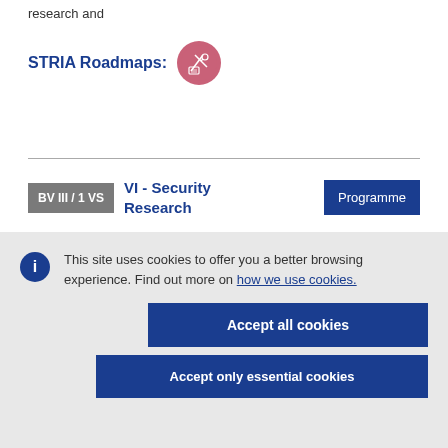research and
STRIA Roadmaps:
[Figure (logo): STRIA Roadmaps circular pink icon with satellite and document symbols]
BV III / 1 VS
VI - Security Research
Programme
This site uses cookies to offer you a better browsing experience. Find out more on how we use cookies.
Accept all cookies
Accept only essential cookies